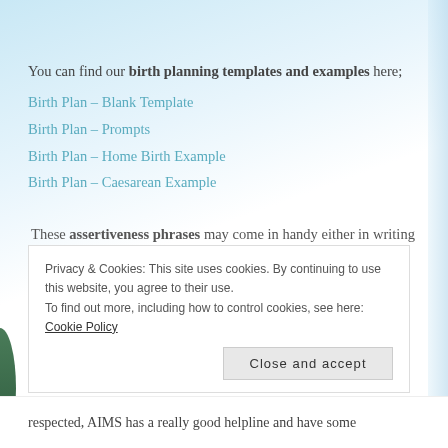You can find our birth planning templates and examples here;
Birth Plan – Blank Template
Birth Plan – Prompts
Birth Plan – Home Birth Example
Birth Plan – Caesarean Example
These assertiveness phrases may come in handy either in writing your birth plan, or implementing it if you come up against resistance; https://www.youtube.com/watch?
Privacy & Cookies: This site uses cookies. By continuing to use this website, you agree to their use.
To find out more, including how to control cookies, see here: Cookie Policy
respected, AIMS has a really good helpline and have some